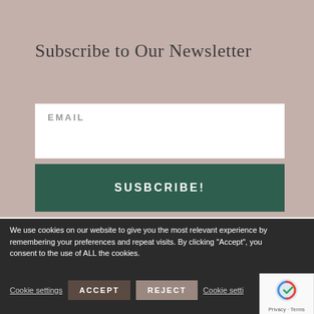Subscribe to Our Newsletter
EMAIL
SUSBCRIBE!
We use cookies on our website to give you the most relevant experience by remembering your preferences and repeat visits. By clicking "Accept", you consent to the use of ALL the cookies.
Cookie settings   ACCEPT   REJECT   Cookie setti